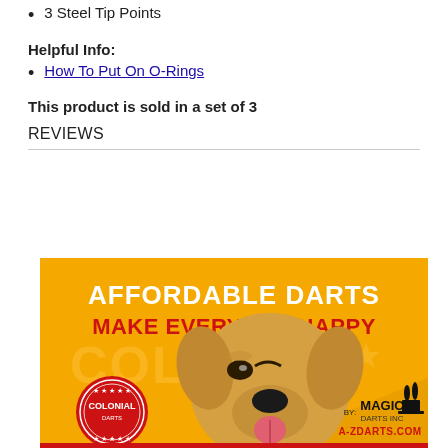3 Steel Tip Points
Helpful Info:
How To Put On O-Rings
This product is sold in a set of 3
REVIEWS
[Figure (illustration): Advertisement banner for A-ZDarts.com by Magic Darts Inc. Orange background with a golden Labrador dog winking. Text reads: AFFORDABLE DARTS MAKE EVERYONE HAPPY. Colonial logo badge on left. BY: MAGIC DARTS INC A-ZDARTS.COM on bottom right.]